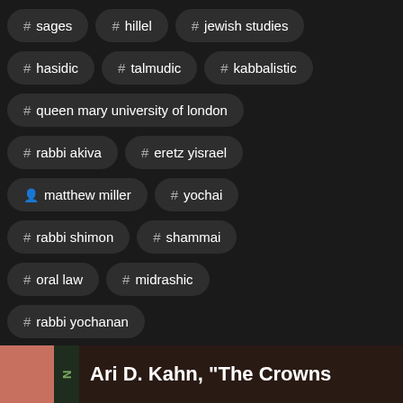# sages
# hillel
# jewish studies
# hasidic
# talmudic
# kabbalistic
# queen mary university of london
# rabbi akiva
# eretz yisrael
matthew miller
# yochai
# rabbi shimon
# shammai
# oral law
# midrashic
# rabbi yochanan
Ari D. Kahn, "The Crowns